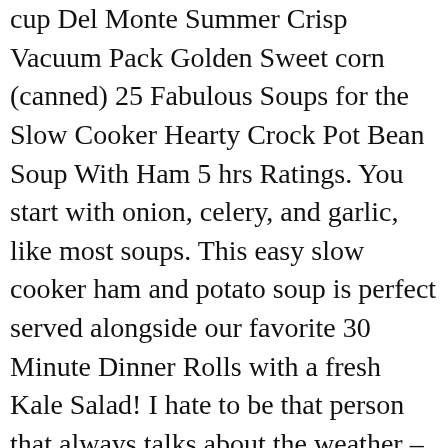cup Del Monte Summer Crisp Vacuum Pack Golden Sweet corn (canned) 25 Fabulous Soups for the Slow Cooker Hearty Crock Pot Bean Soup With Ham 5 hrs Ratings. You start with onion, celery, and garlic, like most soups. This easy slow cooker ham and potato soup is perfect served alongside our favorite 30 Minute Dinner Rolls with a fresh Kale Salad! I hate to be that person that always talks about the weather – but you guys – it has been cold out there. Hot and creamy, with bright tomato flavor, it warms you up on a cool day. A quick and easy comforting meal that's full of flavor! Soak beans in warm water … oil into a soup pan and saute over low heat the onion, celery and ham.Add the cabbage, carrots, chard and the beans and tomatoes.Pour the stock into … with Parmesan cheese. Cayenne pepper gives it some zip. I'll for sure make this